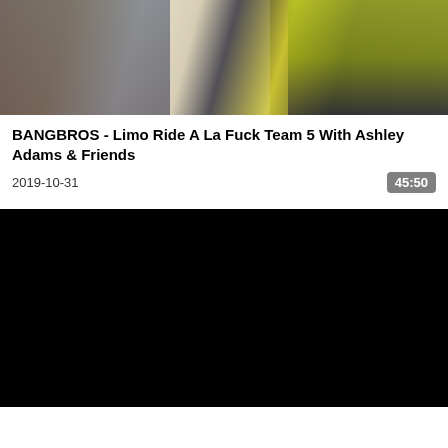[Figure (photo): Video thumbnail showing people in a scene, one wearing a high-visibility yellow/green safety vest]
BANGBROS - Limo Ride A La Fuck Team 5 With Ashley Adams & Friends
2019-10-31
45:50
[Figure (screenshot): Black video player area]